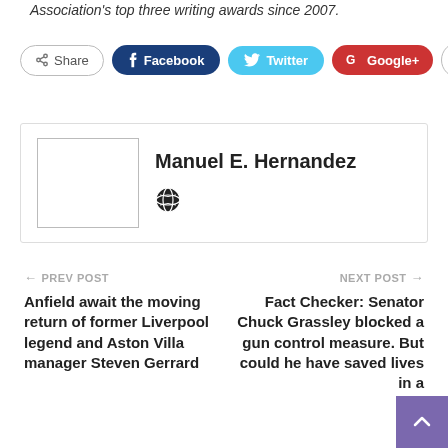Association's top three writing awards since 2007.
[Figure (screenshot): Social share buttons: Share, Facebook, Twitter, Google+, and a plus button]
Manuel E. Hernandez
PREV POST
Anfield await the moving return of former Liverpool legend and Aston Villa manager Steven Gerrard
NEXT POST
Fact Checker: Senator Chuck Grassley blocked a gun control measure. But could he have saved lives in a